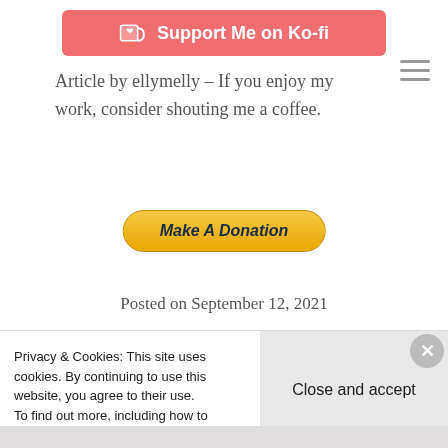[Figure (other): Ko-fi support button with heart/coffee cup icon, red/coral background, white text reading 'Support Me on Ko-fi']
Article by ellymelly – If you enjoy my work, consider shouting me a coffee.
[Figure (other): Hamburger menu icon (three horizontal lines)]
[Figure (other): Make A Donation button with golden/yellow gradient background and italic bold dark blue text]
Posted on September 12, 2021
[Figure (other): Circle with question mark '2' symbol]
Privacy & Cookies: This site uses cookies. By continuing to use this website, you agree to their use.
To find out more, including how to control cookies, see here: Cookie Policy
[Figure (other): Close and accept button area on grey background]
[Figure (other): X close button circle on right edge]